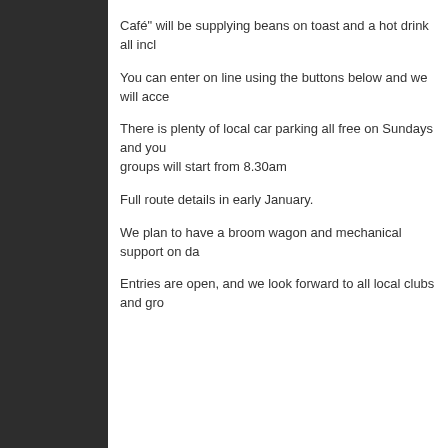Café" will be supplying beans on toast and a hot drink all incl...
You can enter on line using the buttons below and we will acce...
There is plenty of local car parking all free on Sundays and you... groups will start from 8.30am
Full route details in early January.
We plan to have a broom wagon and mechanical support on da...
Entries are open, and we look forward to all local clubs and gro...
| Event Website | http://www.wheelsinwheels.com |
| HQ/Start Address |  |
| Address Line 1 | The Local Cafe |
| Address Line 2 | The Broadway |